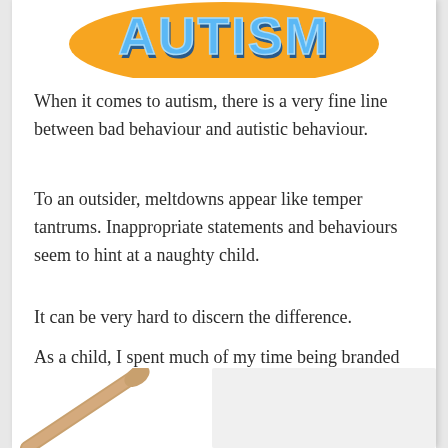[Figure (logo): Colorful stylized text logo with blue and orange lettering, partially visible at top of page]
When it comes to autism, there is a very fine line between bad behaviour and autistic behaviour.
To an outsider, meltdowns appear like temper tantrums. Inappropriate statements and behaviours seem to hint at a naughty child.
It can be very hard to discern the difference.
As a child, I spent much of my time being branded as naughty. Growing up in an Irish household, I was no stranger to the dreaded wooden spoon…
[Figure (photo): Partial image of a wooden spoon at the bottom of the page]